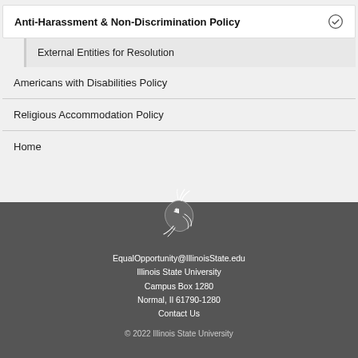Anti-Harassment & Non-Discrimination Policy
External Entities for Resolution
Americans with Disabilities Policy
Religious Accommodation Policy
Home
[Figure (logo): Illinois State University cardinal bird logo in white outline on dark gray background]
EqualOpportunity@IllinoisState.edu
Illinois State University
Campus Box 1280
Normal, Il 61790-1280
Contact Us

© 2022 Illinois State University